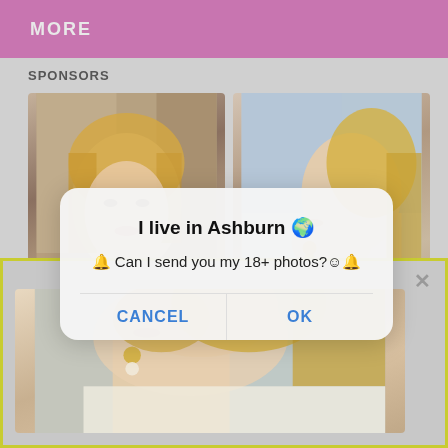MORE
SPONSORS
[Figure (photo): Two sponsor advertisement photos of women, side by side, partially obscured by a dialog box overlay]
I live in Ashburn 🌐
🔔 Can I send you my 18+ photos?☺️🔔
CANCEL
OK
[Figure (photo): Bottom advertisement image of a blonde woman's profile with pearl earring, inside a yellow-green bordered box with an X close button]